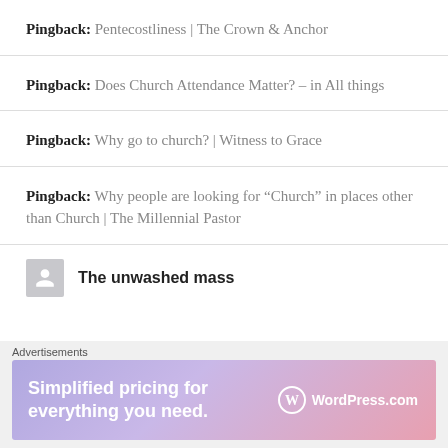Pingback: Pentecostliness | The Crown & Anchor
Pingback: Does Church Attendance Matter? – in All things
Pingback: Why go to church? | Witness to Grace
Pingback: Why people are looking for “Church” in places other than Church | The Millennial Pastor
The unwashed mass
[Figure (other): WordPress.com advertisement banner: 'Simplified pricing for everything you need.' with WordPress logo]